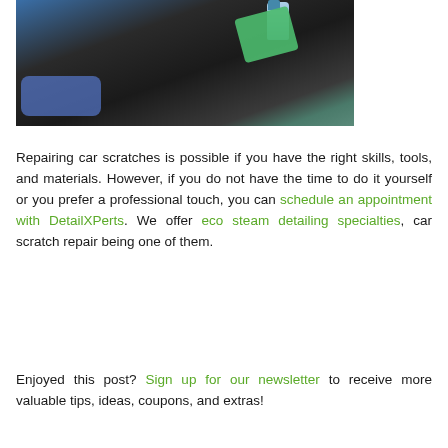[Figure (photo): A car being detailed - a person using a green cloth and cleaning products on a dark car surface, viewed from above]
Repairing car scratches is possible if you have the right skills, tools, and materials. However, if you do not have the time to do it yourself or you prefer a professional touch, you can schedule an appointment with DetailXPerts. We offer eco steam detailing specialties, car scratch repair being one of them.
Enjoyed this post? Sign up for our newsletter to receive more valuable tips, ideas, coupons, and extras!